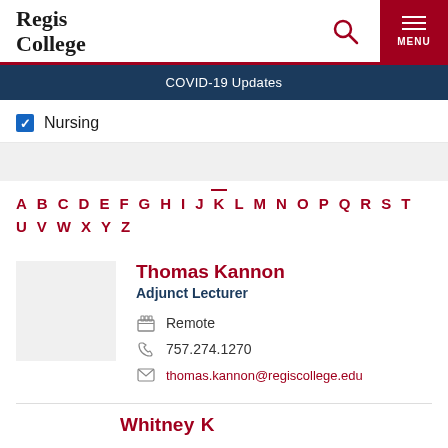Regis College
COVID-19 Updates
Nursing
A B C D E F G H I J K L M N O P Q R S T U V W X Y Z
Thomas Kannon
Adjunct Lecturer
Remote
757.274.1270
thomas.kannon@regiscollege.edu
Whitney K...